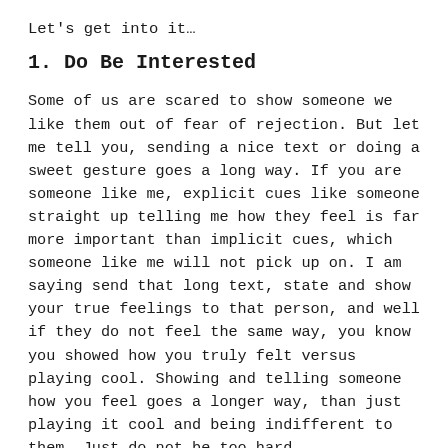Let's get into it...
1. Do Be Interested
Some of us are scared to show someone we like them out of fear of rejection. But let me tell you, sending a nice text or doing a sweet gesture goes a long way. If you are someone like me, explicit cues like someone straight up telling me how they feel is far more important than implicit cues, which someone like me will not pick up on. I am saying send that long text, state and show your true feelings to that person, and well if they do not feel the same way, you know you showed how you truly felt versus playing cool. Showing and telling someone how you feel goes a longer way, than just playing it cool and being indifferent to them. Just do not be too hard